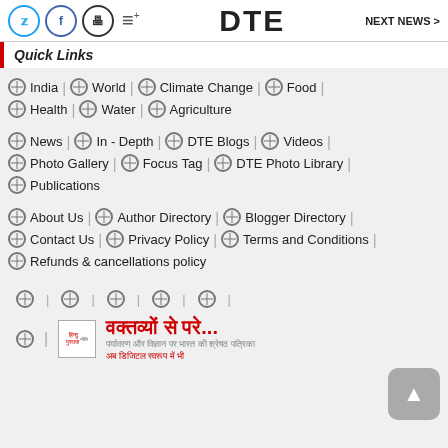DTE  NEXT NEWS >
Quick Links
India | World | Climate Change | Food |
Health | Water | Agriculture
News | In - Depth | DTE Blogs | Videos |
Photo Gallery | Focus Tag | DTE Photo Library |
Publications
About Us | Author Directory | Blogger Directory |
Contact Us | Privacy Policy | Terms and Conditions |
Refunds & cancellations policy
(globe icons row with separators)
[Figure (other): Hindi language book cover and promotional text: वक्तव्यों से परे... with subtext]